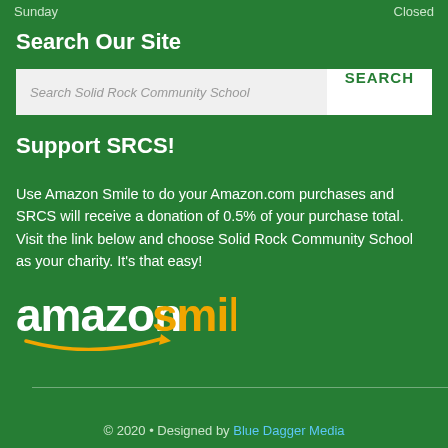Sunday    Closed
Search Our Site
Search Solid Rock Community School
Support SRCS!
Use Amazon Smile to do your Amazon.com purchases and SRCS will receive a donation of 0.5% of your purchase total. Visit the link below and choose Solid Rock Community School as your charity. It's that easy!
[Figure (logo): Amazon Smile logo with 'amazon' in white and 'smile' in orange with arrow underneath]
© 2020 • Designed by Blue Dagger Media